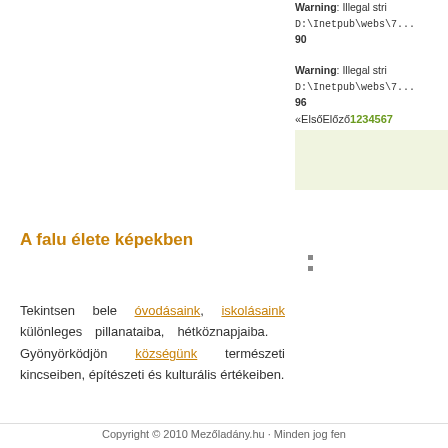Warning: Illegal stri D:\Inetpub\webs\7... 90
Warning: Illegal stri D:\Inetpub\webs\7... 96
«ElsőElőző1234567
A falu élete képekben
Tekintsen bele óvodásaink, iskolásaink különleges pillanataiba, hétköznapjaiba. Gyönyörködjön községünk természeti kincseiben, építészeti és kulturális értékeiben.
Copyright © 2010 Mezőladány.hu · Minden jog fen